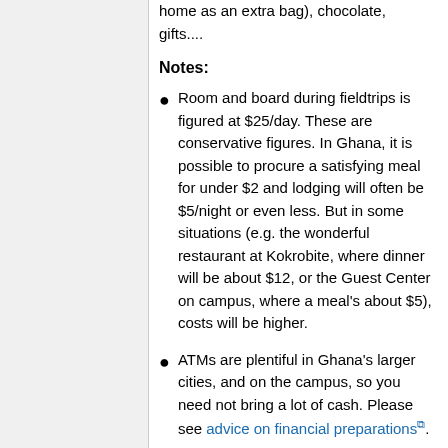home as an extra bag), chocolate, gifts....
Notes:
Room and board during fieldtrips is figured at $25/day. These are conservative figures. In Ghana, it is possible to procure a satisfying meal for under $2 and lodging will often be $5/night or even less. But in some situations (e.g. the wonderful restaurant at Kokrobite, where dinner will be about $12, or the Guest Center on campus, where a meal's about $5), costs will be higher.
ATMs are plentiful in Ghana's larger cities, and on the campus, so you need not bring a lot of cash. Please see advice on financial preparations.